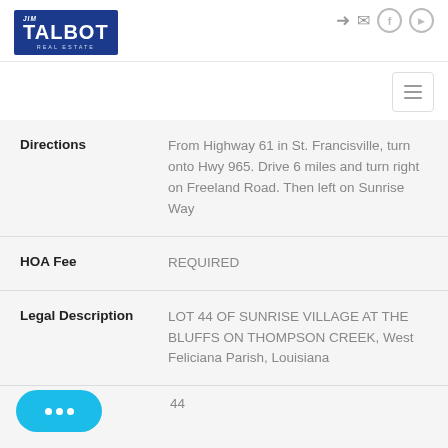[Figure (logo): Jim Talbot Real Estate logo — blue rectangle with white bold TALBOT text]
Directions
From Highway 61 in St. Francisville, turn onto Hwy 965. Drive 6 miles and turn right on Freeland Road. Then left on Sunrise Way
HOA Fee
REQUIRED
Legal Description
LOT 44 OF SUNRISE VILLAGE AT THE BLUFFS ON THOMPSON CREEK, West Feliciana Parish, Louisiana
44